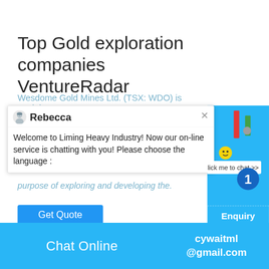Top Gold exploration companies VentureRadar
Wesdome Gold Mines Ltd. (TSX: WDO) is a mining,
[Figure (screenshot): Chat popup overlay with avatar of Rebecca, agent name 'Rebecca', message 'Welcome to Liming Heavy Industry! Now our on-line service is chatting with you! Please choose the language :' and a close X button]
purpose of exploring and developing the.
[Figure (screenshot): Blue Get Quote button]
[Figure (screenshot): Right side chat widget panel with game-like graphics, number 1 badge, 'Click me to chat >>' bubble, on cyan/blue background]
Enquiry
Chat Online   cywaitml@gmail.com